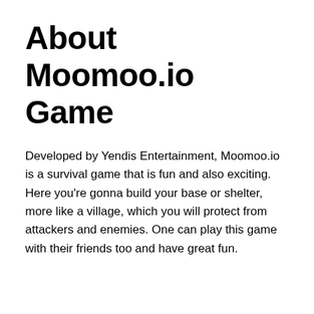About Moomoo.io Game
Developed by Yendis Entertainment, Moomoo.io is a survival game that is fun and also exciting. Here you’re gonna build your base or shelter, more like a village, which you will protect from attackers and enemies. One can play this game with their friends too and have great fun.